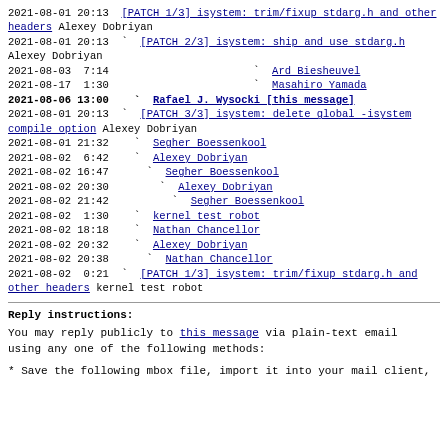2021-08-01 20:13  [PATCH 1/3] isystem: trim/fixup stdarg.h and other headers  Alexey Dobriyan
2021-08-01 20:13  `  [PATCH 2/3] isystem: ship and use stdarg.h  Alexey Dobriyan
2021-08-03  7:14    `  Ard Biesheuvel
2021-08-17  1:30    `  Masahiro Yamada
2021-08-06 13:00    `  Rafael J. Wysocki [this message]
2021-08-01 20:13  `  [PATCH 3/3] isystem: delete global -isystem compile option  Alexey Dobriyan
2021-08-01 21:32    `  Segher Boessenkool
2021-08-02  6:42    `  Alexey Dobriyan
2021-08-02 16:47      `  Segher Boessenkool
2021-08-02 20:30        `  Alexey Dobriyan
2021-08-02 21:42          `  Segher Boessenkool
2021-08-02  1:30    `  kernel test robot
2021-08-02 18:18    `  Nathan Chancellor
2021-08-02 20:32    `  Alexey Dobriyan
2021-08-02 20:38      `  Nathan Chancellor
2021-08-02  0:21  `  [PATCH 1/3] isystem: trim/fixup stdarg.h and other headers  kernel test robot
Reply instructions:
You may reply publicly to this message via plain-text email
using any one of the following methods:
* Save the following mbox file, import it into your mail client,